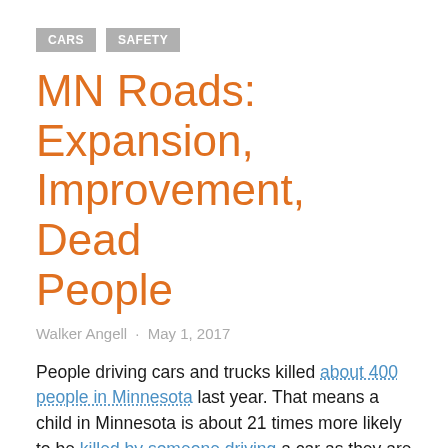CARS   SAFETY
MN Roads: Expansion, Improvement, Dead People
Walker Angell · May 1, 2017
People driving cars and trucks killed about 400 people in Minnesota last year. That means a child in Minnesota is about 21 times more likely to be killed by someone driving a car as they are to be abducted by a stranger. What's being done about this at the capitol in Saint Paul?